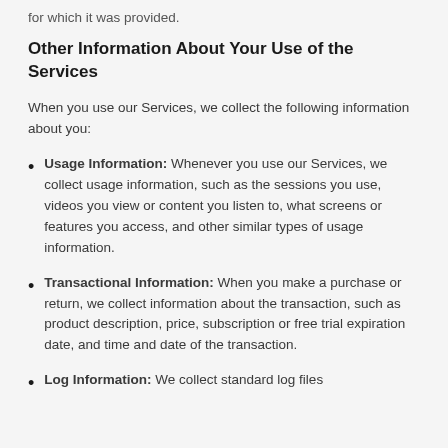for which it was provided.
Other Information About Your Use of the Services
When you use our Services, we collect the following information about you:
Usage Information: Whenever you use our Services, we collect usage information, such as the sessions you use, videos you view or content you listen to, what screens or features you access, and other similar types of usage information.
Transactional Information: When you make a purchase or return, we collect information about the transaction, such as product description, price, subscription or free trial expiration date, and time and date of the transaction.
Log Information: We collect standard log files